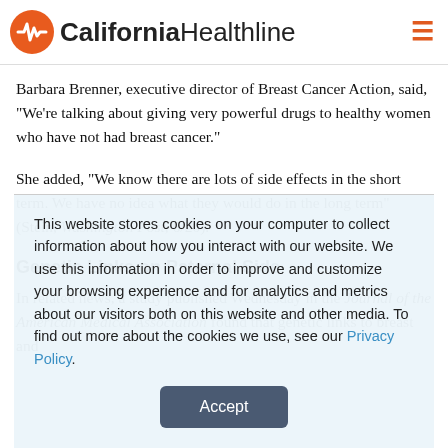California Healthline
Barbara Brenner, executive director of Breast Cancer Action, said, "We're talking about giving very powerful drugs to healthy women who have not had breast cancer."
She added, "We know there are lots of side effects in the short term. We have no idea what they would do in the long term" (Stein, Washington Post, 6/20).
Genetic Links on Paternal Side
In related news, a study published Wednesday in the Journal of the American Medical Association found that genetic links to breast and
This website stores cookies on your computer to collect information about how you interact with our website. We use this information in order to improve and customize your browsing experience and for analytics and metrics about our visitors both on this website and other media. To find out more about the cookies we use, see our Privacy Policy.